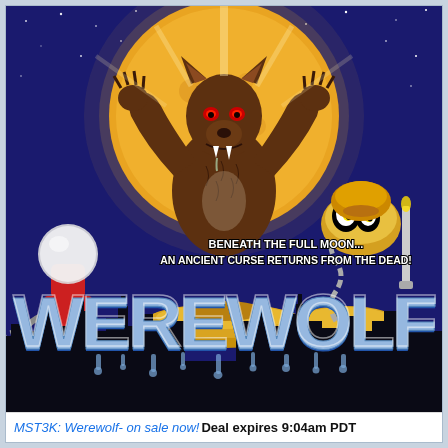[Figure (illustration): Movie poster illustration for MST3K: Werewolf. Dark blue night sky with stars, large yellow full moon in center background. A brown werewolf with arms raised stands in front of the moon. On the lower left is a red lamp/spotlight robot character (Cambot). On the right is a gold/yellow robot character (Tom Servo). In the center-bottom area is a gold hovercraft. Black city silhouette at bottom. White icy/drippy 'WEREWOLF' title text across the lower portion. Upper text reads: 'BENEATH THE FULL MOON... AN ANCIENT CURSE RETURNS FROM THE DEAD!']
MST3K: Werewolf- on sale now! Deal expires 9:04am PDT